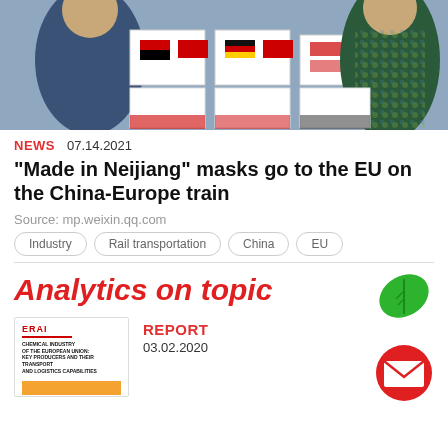[Figure (photo): Photo of people holding boxes with country flags (Angola, China, Germany) — medical supply shipment packaging]
NEWS  07.14.2021
"Made in Neijiang" masks go to the EU on the China-Europe train
Source: mp.weixin.qq.com
Industry
Rail transportation
China
EU
Analytics on topic
REPORT  03.02.2020
[Figure (photo): Thumbnail of ERAI report cover: Chemical Industry of the European Union: Key Producers and Their Transport and Logistics Capabilities]